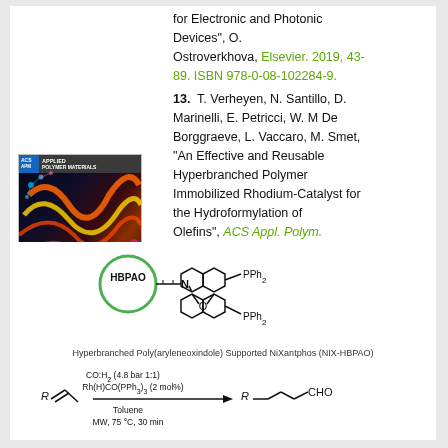for Electronic and Photonic Devices", O. Ostroverkhova, Elsevier. 2019, 43-89. ISBN 978-0-08-102284-9.
[Figure (photo): Journal cover of ACS Applied Polymer Materials showing colorful abstract polymer/light visualization on dark background]
13.  T. Verheyen, N. Santillo, D. Marinelli, E. Petricci, W. M De Borggraeve, L. Vaccaro, M. Smet, "An Effective and Reusable Hyperbranched Polymer Immobilized Rhodium-Catalyst for the Hydroformylation of Olefins", ACS Appl. Polym. Mater. 2019, 16, 1496–1504.
[Figure (schematic): Chemical structure diagram showing HBPAO linked via propyl chain to NiXantphos ligand (N-containing xanthene backbone with two PPh2 groups)]
Hyperbranched Poly(aryleneoxindole) Supported NiXantphos (NIX-HBPAO)
[Figure (schematic): Reaction scheme: R-alkene + CO:H2 (4.8 bar 1:1), Rh(H)CO(PPh3)3 (2 mol%), Toluene, MW, 75 °C, 30 min → R-CH2CH2-CHO (linear aldehyde)]